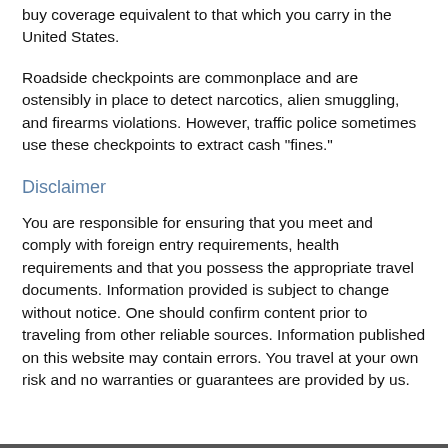buy coverage equivalent to that which you carry in the United States.
Roadside checkpoints are commonplace and are ostensibly in place to detect narcotics, alien smuggling, and firearms violations. However, traffic police sometimes use these checkpoints to extract cash "fines."
Disclaimer
You are responsible for ensuring that you meet and comply with foreign entry requirements, health requirements and that you possess the appropriate travel documents. Information provided is subject to change without notice. One should confirm content prior to traveling from other reliable sources. Information published on this website may contain errors. You travel at your own risk and no warranties or guarantees are provided by us.